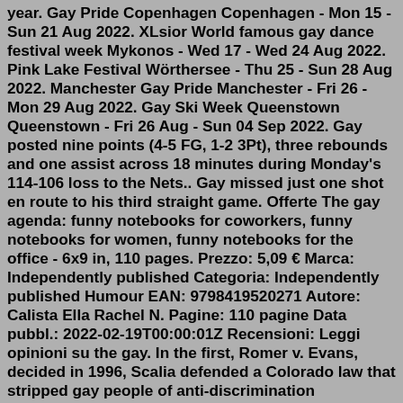year. Gay Pride Copenhagen Copenhagen - Mon 15 - Sun 21 Aug 2022. XLsior World famous gay dance festival week Mykonos - Wed 17 - Wed 24 Aug 2022. Pink Lake Festival Wörthersee - Thu 25 - Sun 28 Aug 2022. Manchester Gay Pride Manchester - Fri 26 - Mon 29 Aug 2022. Gay Ski Week Queenstown Queenstown - Fri 26 Aug - Sun 04 Sep 2022. Gay posted nine points (4-5 FG, 1-2 3Pt), three rebounds and one assist across 18 minutes during Monday's 114-106 loss to the Nets.. Gay missed just one shot en route to his third straight game. Offerte The gay agenda: funny notebooks for coworkers, funny notebooks for women, funny notebooks for the office - 6x9 in, 110 pages. Prezzo: 5,09 € Marca: Independently published Categoria: Independently published Humour EAN: 9798419520271 Autore: Calista Ella Rachel N. Pagine: 110 pagine Data pubbl.: 2022-02-19T00:00:01Z Recensioni: Leggi opinioni su the gay. In the first, Romer v. Evans, decided in 1996, Scalia defended a Colorado law that stripped gay people of anti-discrimination